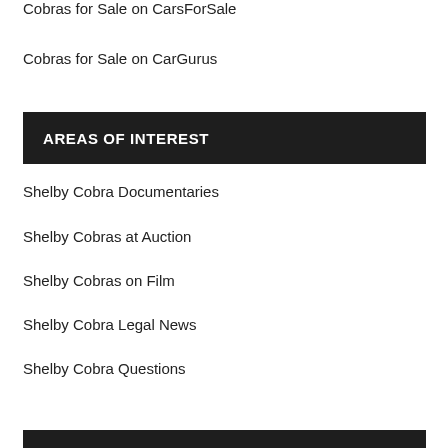Cobras for Sale on CarsForSale
Cobras for Sale on CarGurus
AREAS OF INTEREST
Shelby Cobra Documentaries
Shelby Cobras at Auction
Shelby Cobras on Film
Shelby Cobra Legal News
Shelby Cobra Questions